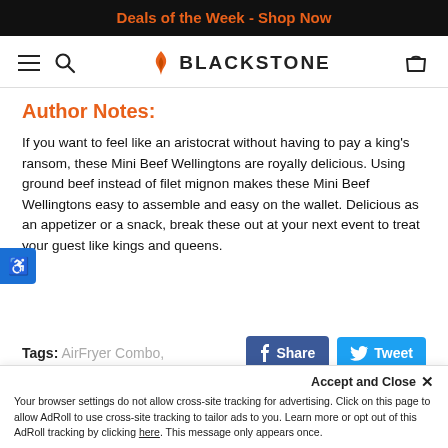Deals of the Week - Shop Now
[Figure (logo): Blackstone logo with hamburger menu and search icon on left, cart icon on right]
Author Notes:
If you want to feel like an aristocrat without having to pay a king's ransom, these Mini Beef Wellingtons are royally delicious. Using ground beef instead of filet mignon makes these Mini Beef Wellingtons easy to assemble and easy on the wallet. Delicious as an appetizer or a snack, break these out at your next event to treat your guest like kings and queens.
Tags: AirFryer Combo,
Your browser settings do not allow cross-site tracking for advertising. Click on this page to allow AdRoll to use cross-site tracking to tailor ads to you. Learn more or opt out of this AdRoll tracking by clicking here. This message only appears once.